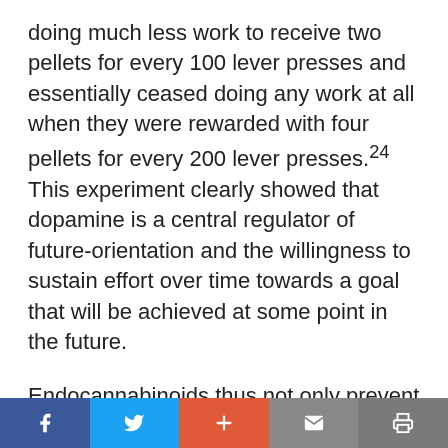doing much less work to receive two pellets for every 100 lever presses and essentially ceased doing any work at all when they were rewarded with four pellets for every 200 lever presses.²⁴ This experiment clearly showed that dopamine is a central regulator of future-orientation and the willingness to sustain effort over time towards a goal that will be achieved at some point in the future.
Endocannabinoids thus not only prevent the anxiety and feeling of self-defeat that leads us to run from challenges rather than confronting them, but also help support the
f  [twitter]  +  [mail]  [print]